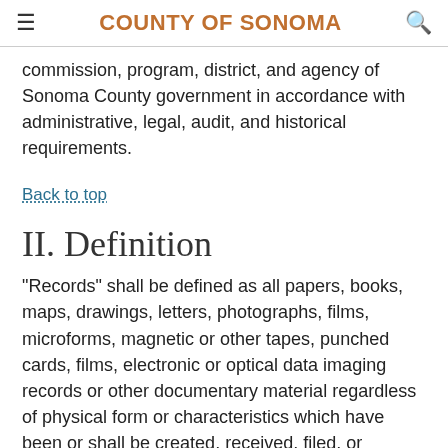COUNTY OF SONOMA
commission, program, district, and agency of Sonoma County government in accordance with administrative, legal, audit, and historical requirements.
Back to top
II. Definition
"Records" shall be defined as all papers, books, maps, drawings, letters, photographs, films, microforms, magnetic or other tapes, punched cards, films, electronic or optical data imaging records or other documentary material regardless of physical form or characteristics which have been or shall be created, received, filed, or recorded by any County office or